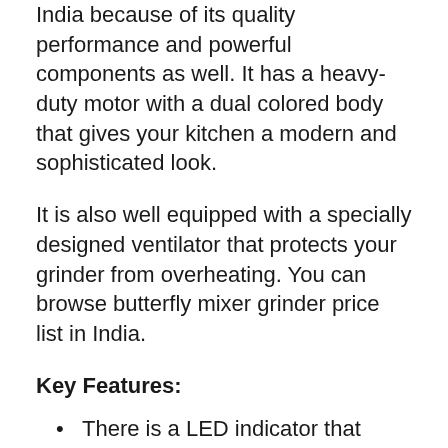India because of its quality performance and powerful components as well. It has a heavy-duty motor with a dual colored body that gives your kitchen a modern and sophisticated look.
It is also well equipped with a specially designed ventilator that protects your grinder from overheating. You can browse butterfly mixer grinder price list in India.
Key Features:
There is a LED indicator that actually indicated the ON/OFF power status.
This mixer grinder comes with three-speed settings along with a rotary switch inbuilt.